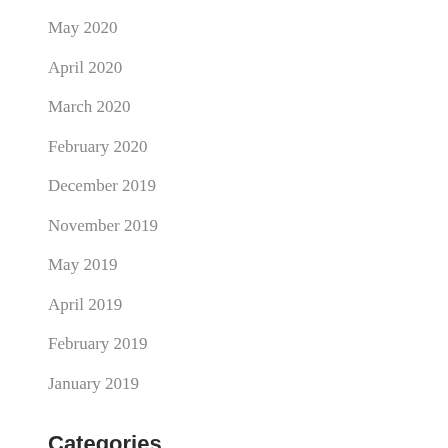May 2020
April 2020
March 2020
February 2020
December 2019
November 2019
May 2019
April 2019
February 2019
January 2019
Categories
Business
Inspiration
Podcast